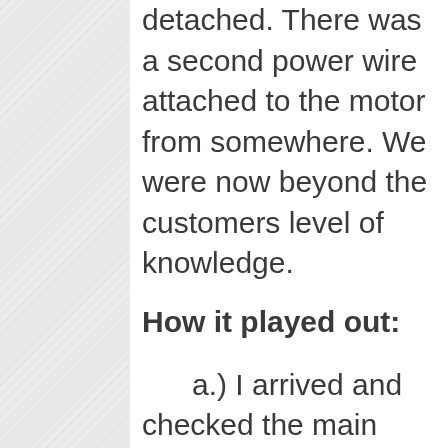detached. There was a second power wire attached to the motor from somewhere. We were now beyond the customers level of knowledge.
How it played out:
a.) I arrived and checked the main panel, finding it